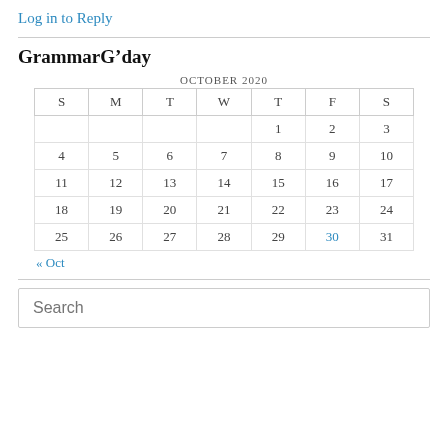Log in to Reply
GrammarG’day
| S | M | T | W | T | F | S |
| --- | --- | --- | --- | --- | --- | --- |
|  |  |  |  | 1 | 2 | 3 |
| 4 | 5 | 6 | 7 | 8 | 9 | 10 |
| 11 | 12 | 13 | 14 | 15 | 16 | 17 |
| 18 | 19 | 20 | 21 | 22 | 23 | 24 |
| 25 | 26 | 27 | 28 | 29 | 30 | 31 |
« Oct
Search